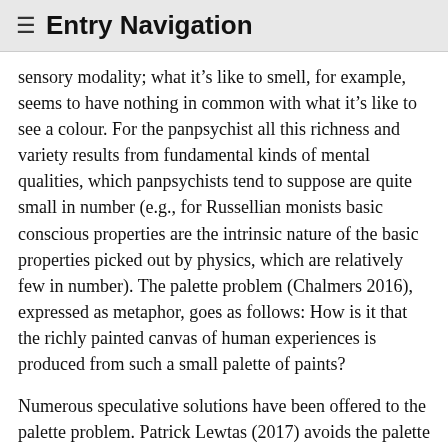≡ Entry Navigation
sensory modality; what it's like to smell, for example, seems to have nothing in common with what it's like to see a colour. For the panpsychist all this richness and variety results from fundamental kinds of mental qualities, which panpsychists tend to suppose are quite small in number (e.g., for Russellian monists basic conscious properties are the intrinsic nature of the basic properties picked out by physics, which are relatively few in number). The palette problem (Chalmers 2016), expressed as metaphor, goes as follows: How is it that the richly painted canvas of human experiences is produced from such a small palette of paints?
Numerous speculative solutions have been offered to the palette problem. Patrick Lewtas (2017) avoids the palette problem altogether by postulating an enormous number of fundamental micro-experiential properties, one corresponding to every basic quality we find in human experience. Luke Roelofs (2014, 2015, 2019) develops a form of constitutive micropsychism according to which